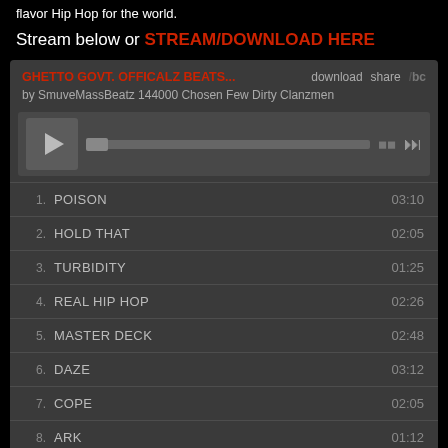flavor Hip Hop for the world.
Stream below or STREAM/DOWNLOAD HERE
[Figure (screenshot): Bandcamp music player widget showing album 'GHETTO GOVT. OFFICALZ BEATS...' by SmuveMassBeatz 144000 Chosen Few Dirty Clanzmen, with play button, progress bar, and tracklist including: 1. POISON 03:10, 2. HOLD THAT 02:05, 3. TURBIDITY 01:25, 4. REAL HIP HOP 02:26, 5. MASTER DECK 02:48, 6. DAZE 03:12, 7. COPE 02:05, 8. ARK 01:12]